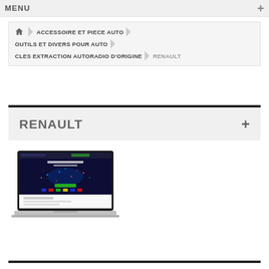MENU +
ACCESSOIRE ET PIECE AUTO > OUTILS ET DIVERS POUR AUTO > CLES EXTRACTION AUTORADIO D'ORIGINE > RENAULT
RENAULT +
[Figure (screenshot): Laptop computer displaying a website with dark background showing online shop statistics and world map]